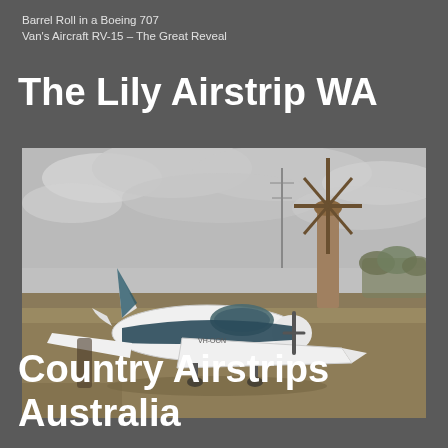Barrel Roll in a Boeing 707
Van's Aircraft RV-15 – The Great Reveal
The Lily Airstrip WA
[Figure (photo): A small light aircraft (registration VH-OON) parked on a grassy airstrip with a traditional windmill visible in the background under a cloudy grey sky. The aircraft is white and teal/dark blue in color.]
Country Airstrips Australia